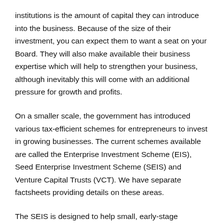institutions is the amount of capital they can introduce into the business. Because of the size of their investment, you can expect them to want a seat on your Board. They will also make available their business expertise which will help to strengthen your business, although inevitably this will come with an additional pressure for growth and profits.
On a smaller scale, the government has introduced various tax-efficient schemes for entrepreneurs to invest in growing businesses. The current schemes available are called the Enterprise Investment Scheme (EIS), Seed Enterprise Investment Scheme (SEIS) and Venture Capital Trusts (VCT). We have separate factsheets providing details on these areas.
The SEIS is designed to help small, early-stage companies to raise equity finance by offering a range of tax reliefs to individual investors who purchase new shares in those companies. It complements the EIS which offers tax reliefs to